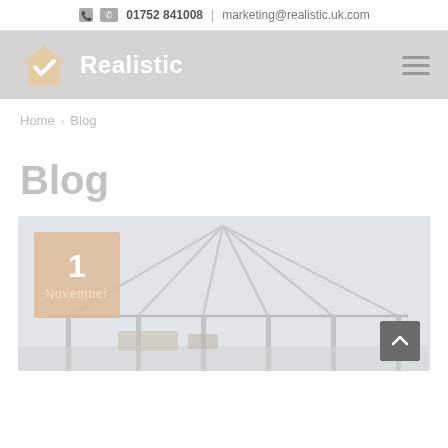01752 841008 | marketing@realistic.uk.com
[Figure (logo): Realistic company logo with house/checkmark icon and 'Realistic' wordmark on grey background]
Home > Blog
Blog
[Figure (photo): Blog post thumbnail showing a conservatory/glass extension interior with date badge showing '1 November']